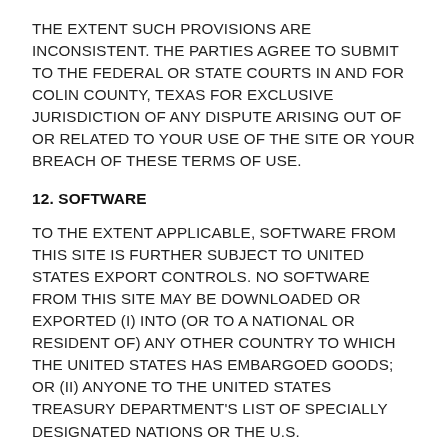THE EXTENT SUCH PROVISIONS ARE INCONSISTENT. THE PARTIES AGREE TO SUBMIT TO THE FEDERAL OR STATE COURTS IN AND FOR COLIN COUNTY, TEXAS FOR EXCLUSIVE JURISDICTION OF ANY DISPUTE ARISING OUT OF OR RELATED TO YOUR USE OF THE SITE OR YOUR BREACH OF THESE TERMS OF USE.
12. SOFTWARE
TO THE EXTENT APPLICABLE, SOFTWARE FROM THIS SITE IS FURTHER SUBJECT TO UNITED STATES EXPORT CONTROLS. NO SOFTWARE FROM THIS SITE MAY BE DOWNLOADED OR EXPORTED (I) INTO (OR TO A NATIONAL OR RESIDENT OF) ANY OTHER COUNTRY TO WHICH THE UNITED STATES HAS EMBARGOED GOODS; OR (II) ANYONE TO THE UNITED STATES TREASURY DEPARTMENT'S LIST OF SPECIALLY DESIGNATED NATIONS OR THE U.S.